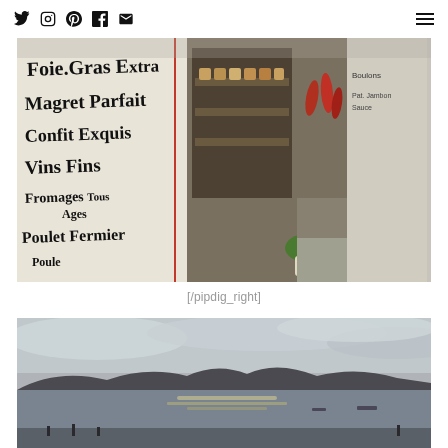Social media icons (Twitter, Instagram, Pinterest, Facebook, Email) and hamburger menu
[Figure (photo): A French deli/charcuterie storefront with a painted sign listing: Foie Gras Extra, Magret Parfait, Confit Exquis, Vins Fins, Fromages Tous Ages, Poulet Fermier, Poule, and a shop window display with goods, red peppers, and plants]
[/pipdig_right]
[Figure (photo): A grey coastal landscape photo showing a calm water bay with mountains in the background, bright sunlight breaking through cloudy sky, moody black and white tones, people silhouetted near the waterfront]